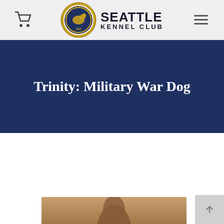Seattle Kennel Club
Trinity: Military War Dog
[Figure (photo): Partial view of a person or dog at the bottom of the page, cropped, warm brown tones]